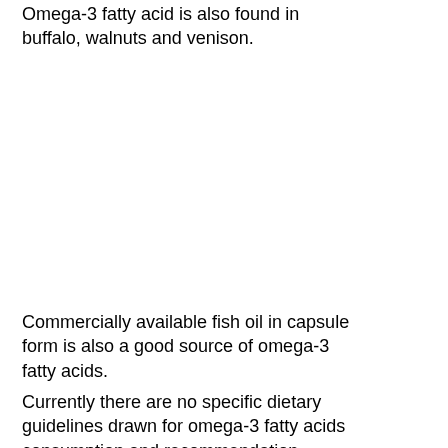Omega-3 fatty acid is also found in buffalo, walnuts and venison.
Commercially available fish oil in capsule form is also a good source of omega-3 fatty acids.
Currently there are no specific dietary guidelines drawn for omega-3 fatty acids consumption and recommendation, however a range of 1.1 to 1.6 gm has been established as adequate for adults.